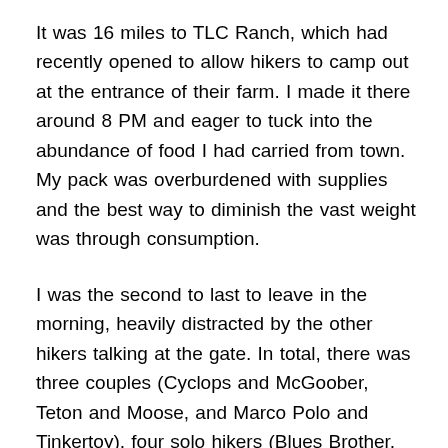It was 16 miles to TLC Ranch, which had recently opened to allow hikers to camp out at the entrance of their farm. I made it there around 8 PM and eager to tuck into the abundance of food I had carried from town. My pack was overburdened with supplies and the best way to diminish the vast weight was through consumption.
I was the second to last to leave in the morning, heavily distracted by the other hikers talking at the gate. In total, there was three couples (Cyclops and McGoober, Teton and Moose, and Marco Polo and Tinkertoy), four solo hikers (Blues Brother, Magic Hat, Season Pass, and one I didn't get his name), and two who showed up in the morning